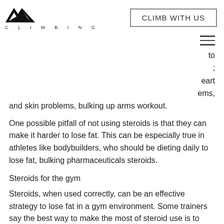MOSAIC CLIMBING | CLIMB WITH US
to
;
eart
ems,
and skin problems, bulking up arms workout.
One possible pitfall of not using steroids is that they can make it harder to lose fat. This can be especially true in athletes like bodybuilders, who should be dieting daily to lose fat, bulking pharmaceuticals steroids.
Steroids for the gym
Steroids, when used correctly, can be an effective strategy to lose fat in a gym environment. Some trainers say the best way to make the most of steroid use is to